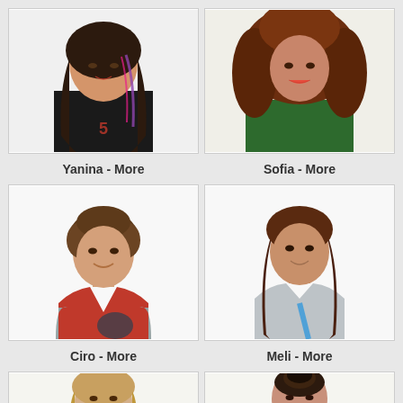[Figure (photo): Young woman with long dark hair with purple/pink highlights, wearing black graphic t-shirt, smiling]
[Figure (photo): Young woman with voluminous curly dark auburn hair, bright red lipstick, wearing green top]
Yanina - More
Sofia - More
[Figure (photo): Young man with short curly brown hair, smiling, wearing pink hoodie with grey jacket]
[Figure (photo): Young woman with long wavy brown hair, smiling, wearing light grey top, holding strap]
Ciro - More
Meli - More
[Figure (photo): Young woman with straight light brown hair pulled back, casual look]
[Figure (photo): Young woman with dark hair in updo, looking at camera]